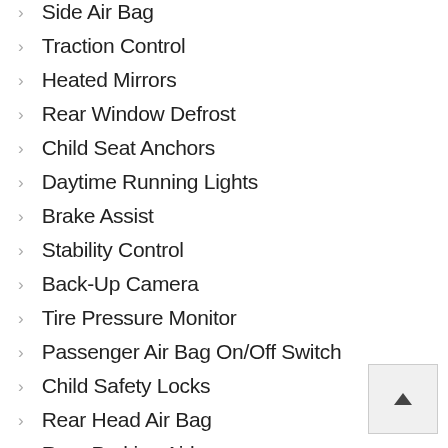Side Air Bag
Traction Control
Heated Mirrors
Rear Window Defrost
Child Seat Anchors
Daytime Running Lights
Brake Assist
Stability Control
Back-Up Camera
Tire Pressure Monitor
Passenger Air Bag On/Off Switch
Child Safety Locks
Rear Head Air Bag
Rear Parking Aid
Rearview Camera
Front Head Air Bag